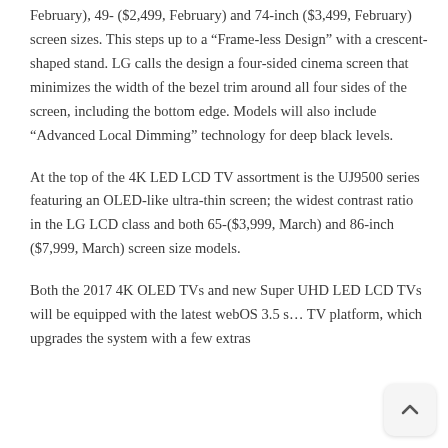February), 49- ($2,499, February) and 74-inch ($3,499, February) screen sizes. This steps up to a “Frame-less Design” with a crescent-shaped stand. LG calls the design a four-sided cinema screen that minimizes the width of the bezel trim around all four sides of the screen, including the bottom edge. Models will also include “Advanced Local Dimming” technology for deep black levels.
At the top of the 4K LED LCD TV assortment is the UJ9500 series featuring an OLED-like ultra-thin screen; the widest contrast ratio in the LG LCD class and both 65-($3,999, March) and 86-inch ($7,999, March) screen size models.
Both the 2017 4K OLED TVs and new Super UHD LED LCD TVs will be equipped with the latest webOS 3.5 smart TV platform, which upgrades the system with a few extras